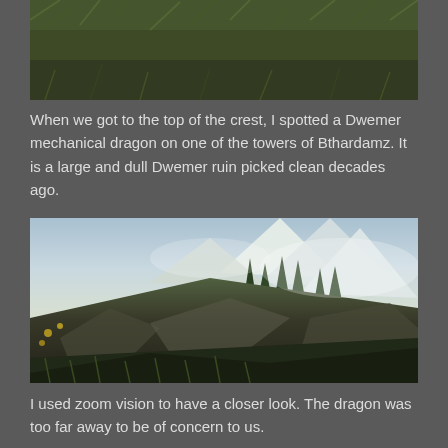[Figure (photo): Screenshot from a video game showing dense green grass from a top-down perspective, with dark earth tones]
When we got to the top of the crest, I spotted a Dwemer mechanical dragon on one of the towers of Bthardamz. It is a large and dull Dwemer ruin picked clean decades ago.
[Figure (photo): Screenshot from a video game (Skyrim) showing a landscape with grassy hills, rocky terrain, snow-capped mountains, pine trees, and cloudy sky in the background]
I used zoom vision to have a closer look. The dragon was too far away to be of concern to us.